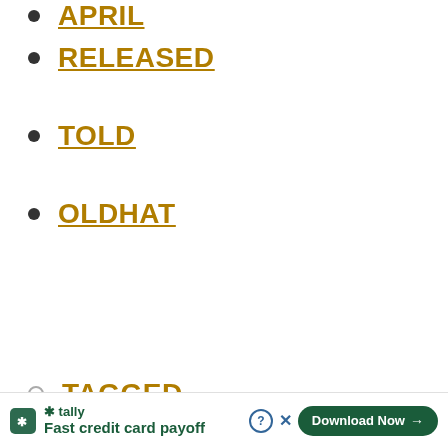RELEASED
TOLD
OLDHAT
TAGGED
[Figure (screenshot): Ad banner: Tally app — Fast credit card payoff, Download Now button]